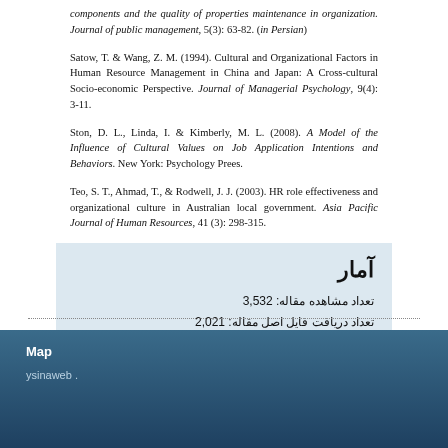components and the quality of properties maintenance in organization. Journal of public management, 5(3): 63-82. (in Persian)
Satow, T. & Wang, Z. M. (1994). Cultural and Organizational Factors in Human Resource Management in China and Japan: A Cross-cultural Socio-economic Perspective. Journal of Managerial Psychology, 9(4): 3-11.
Ston, D. L., Linda, I. & Kimberly, M. L. (2008). A Model of the Influence of Cultural Values on Job Application Intentions and Behaviors. New York: Psychology Prees.
Teo, S. T., Ahmad, T., & Rodwell, J. J. (2003). HR role effectiveness and organizational culture in Australian local government. Asia Pacific Journal of Human Resources, 41 (3): 298-315.
آمار
تعداد مشاهده مقاله: 3,532
تعداد دریافت فایل اصل مقاله: 2,021
Map
ysinaweb .